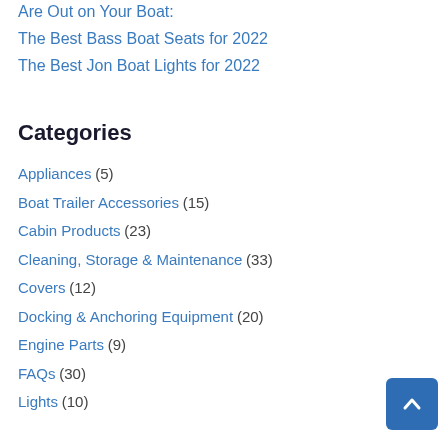Are Out on Your Boat:
The Best Bass Boat Seats for 2022
The Best Jon Boat Lights for 2022
Categories
Appliances (5)
Boat Trailer Accessories (15)
Cabin Products (23)
Cleaning, Storage & Maintenance (33)
Covers (12)
Docking & Anchoring Equipment (20)
Engine Parts (9)
FAQs (30)
Lights (10)